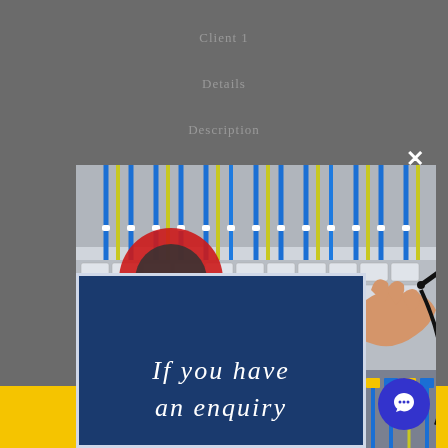[Figure (photo): Electrical panel/fuse box with colorful wires and a hand using a multimeter/clamp meter to test circuits. A red clamp meter is prominently visible on the left, and a hand holding a probe is on the right side of the panel.]
If you have an enquiry